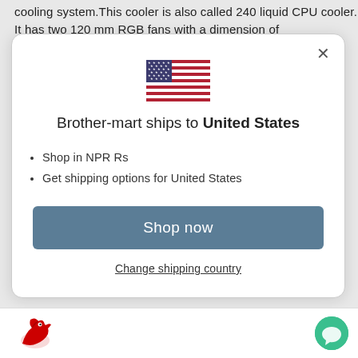cooling system.This cooler is also called 240 liquid CPU cooler. It has two 120 mm RGB fans with a dimension of
[Figure (illustration): Modal dialog box with US flag, shipping info for United States, Shop now button, and Change shipping country link]
Brother-mart ships to United States
Shop in NPR Rs
Get shipping options for United States
Shop now
Change shipping country